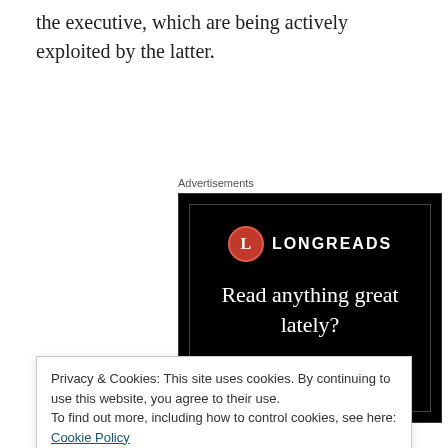the executive, which are being actively exploited by the latter.
Advertisements
[Figure (advertisement): Longreads advertisement on black background with red circle logo, text reading 'Read anything great lately?' and a red 'Start reading' button]
Privacy & Cookies: This site uses cookies. By continuing to use this website, you agree to their use.
To find out more, including how to control cookies, see here: Cookie Policy
thing. It autonomously mislead policy levers are going to